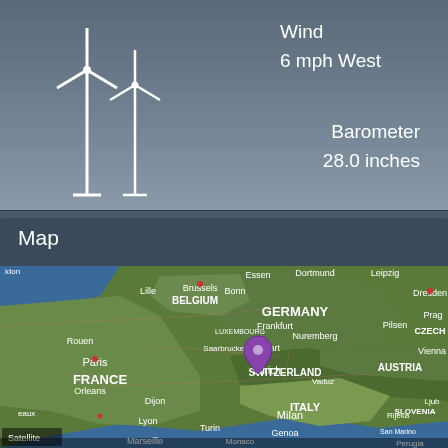[Figure (illustration): Two wind turbine icons in white outline on dark grey-blue background]
Wind
6 mph West
Barometer
28.0 inches
Map
[Figure (map): Satellite map of central Europe showing Germany, Belgium, France, Switzerland, Italy, Austria, Czech Republic with a purple location pin on Zurich]